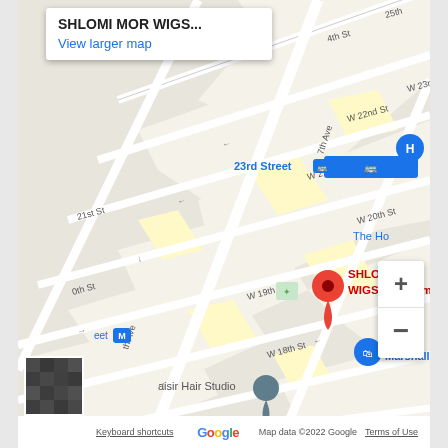[Figure (map): Google Maps screenshot showing the area around SHLOMI MOR WIGS - Custom in Manhattan, New York. Visible streets include W 16th St, W 17th St, W 18th St, W 19th St, W 20th St, W 21st St, W 22nd St, W 23rd St, 7th Ave. Points of interest: SHLOMI MOR WIGS - Custom (red pin), Marshalls (blue pin), Naisir Hair Studio (grey pin), 23rd Street subway station (blue), hotel icon (H). Info box at top shows 'SHLOMI MOR WIGS...' and 'View larger map'. Zoom controls (+/-) on right side. Footer shows Keyboard shortcuts, Map data ©2022 Google, Terms of Use.]